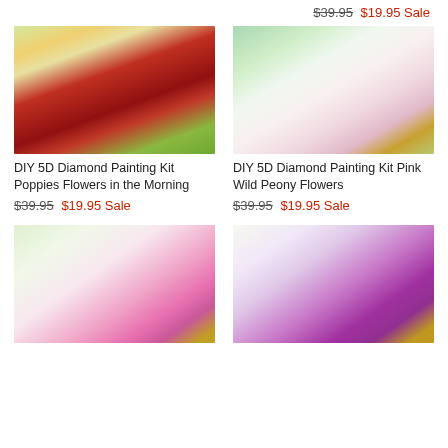$39.95 $19.95 Sale
[Figure (illustration): Painting of red poppies in a field with wheat stalks, vibrant red flowers]
DIY 5D Diamond Painting Kit Poppies Flowers in the Morning
$39.95 $19.95 Sale
[Figure (illustration): Painting of pink and white wild peony flowers with insects on a green background]
DIY 5D Diamond Painting Kit Pink Wild Peony Flowers
$39.95 $19.95 Sale
[Figure (illustration): Watercolor painting of pink cosmos flowers on a light green background]
[Figure (illustration): Painting of a single large purple flower on a white background]